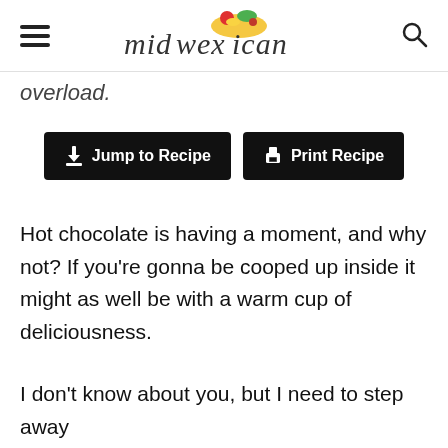midwexican (logo with taco graphic, hamburger menu icon, search icon)
overload.
[Figure (other): Two black buttons: 'Jump to Recipe' with download arrow icon, and 'Print Recipe' with printer icon]
Hot chocolate is having a moment, and why not? If you're gonna be cooped up inside it might as well be with a warm cup of deliciousness.
I don't know about you, but I need to step away